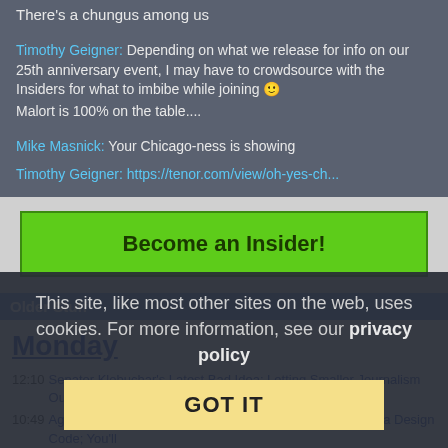There's a chungus among us
Timothy Geigner: Depending on what we release for info on our 25th anniversary event, I may have to crowdsource with the Insiders for what to imbibe while joining 🙂
Malort is 100% on the table....
Mike Masnick: Your Chicago-ness is showing
Timothy Geigner: https://tenor.com/view/oh-yes-ch...
[Figure (other): Green 'Become an Insider!' button]
Older Stuff
Monday
12:10 Senator Klobuchar's Latest Bad Idea: Letting Smaller Journalism Outlets Demand Payments For Links (13)
10:49 Age Verification Providers Say Don't Worry About California Design Code; You'll
This site, like most other sites on the web, uses cookies. For more information, see our privacy policy
[Figure (other): Yellow 'GOT IT' cookie consent button]